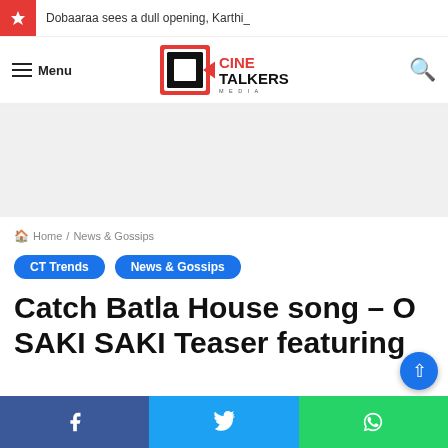Dobaaraa sees a dull opening, Karthi_
[Figure (logo): Cine Talkers Media logo with stylized G/C letter mark in red, black and white, with text CINE TALKERS MEDIA]
Menu
[Figure (other): Advertisement/banner space (grey area)]
Home / News & Gossips
CT Trends
News & Gossips
Catch Batla House song – O SAKI SAKI Teaser featuring